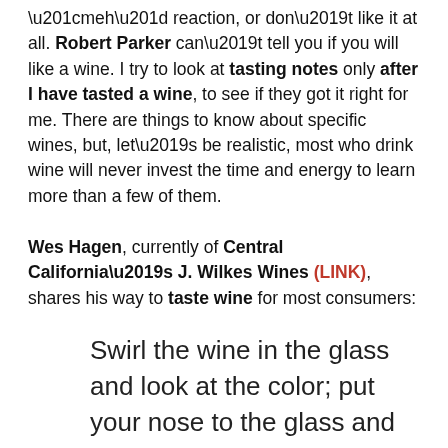“meh” reaction, or don’t like it at all. Robert Parker can’t tell you if you will like a wine. I try to look at tasting notes only after I have tasted a wine, to see if they got it right for me. There are things to know about specific wines, but, let’s be realistic, most who drink wine will never invest the time and energy to learn more than a few of them.
Wes Hagen, currently of Central California’s J. Wilkes Wines (LINK), shares his way to taste wine for most consumers:
Swirl the wine in the glass and look at the color; put your nose to the glass and sniff the bouquet; if it smells like something you want to put...